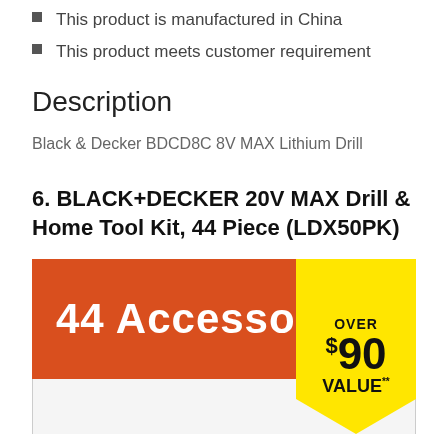This product is manufactured in China
This product meets customer requirement
Description
Black & Decker BDCD8C 8V MAX Lithium Drill
6. BLACK+DECKER 20V MAX Drill & Home Tool Kit, 44 Piece (LDX50PK)
[Figure (infographic): Orange banner reading '44 Accessories' with a yellow pennant tag showing 'OVER $90 VALUE**']